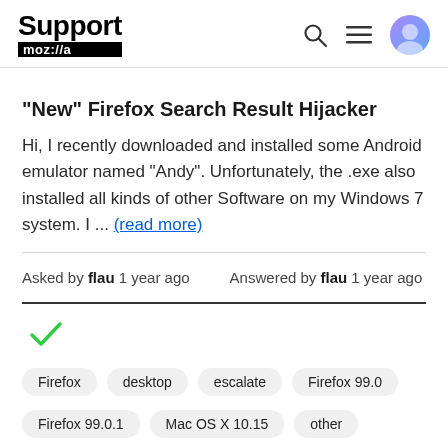Support moz://a
"New" Firefox Search Result Hijacker
Hi, I recently downloaded and installed some Android emulator named "Andy". Unfortunately, the .exe also installed all kinds of other Software on my Windows 7 system. I ... (read more)
Asked by flau 1 year ago    Answered by flau 1 year ago
[Figure (other): Green checkmark indicating answered/resolved status]
Firefox
desktop
escalate
Firefox 99.0
Firefox 99.0.1
Mac OS X 10.15
other
search engine
searchhijack